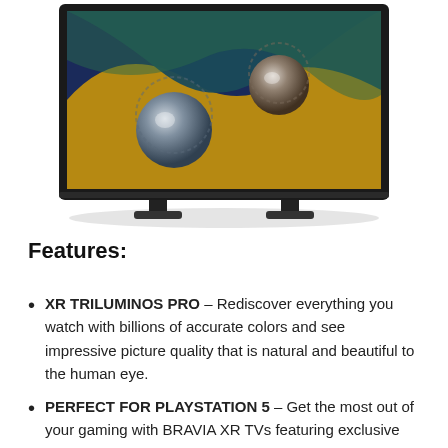[Figure (photo): Sony BRAVIA OLED TV displayed on white background, showing colorful abstract display on screen with two stand legs at the bottom.]
Features:
XR TRILUMINOS PRO – Rediscover everything you watch with billions of accurate colors and see impressive picture quality that is natural and beautiful to the human eye.
PERFECT FOR PLAYSTATION 5 – Get the most out of your gaming with BRAVIA XR TVs featuring exclusive features for the PS5 console along with 4K/120fps as specified in HDMI 2.1 and input lag as low as 8.5ms.